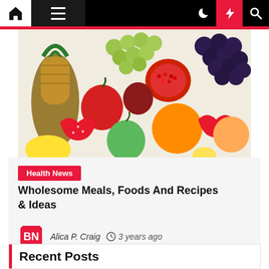Navigation bar with home, menu, moon, lightning, and search icons
[Figure (photo): A colorful assortment of fresh fruits including pineapple, grapes, pomegranate, apples, strawberries, oranges, and lemons arranged in a pile on a white background.]
Health News
Wholesome Meals, Foods And Recipes & Ideas
Alica P. Craig  ⊙ 3 years ago
Recent Posts